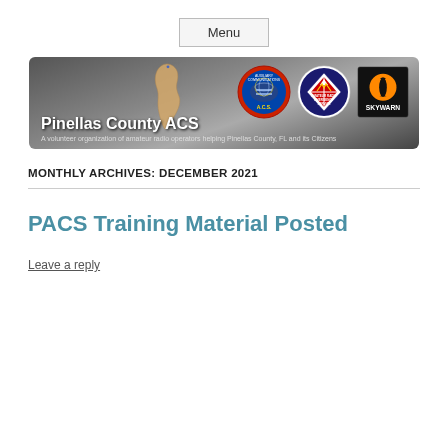Menu
[Figure (illustration): Pinellas County ACS banner with dark stormy background, map of Pinellas County silhouette, ACS circular badge, Amateur Radio Emergency Service badge, and SKYWARN logo. Text reads: Pinellas County ACS — A volunteer organization of amateur radio operators helping Pinellas County, FL and its Citizens]
MONTHLY ARCHIVES: DECEMBER 2021
PACS Training Material Posted
Leave a reply